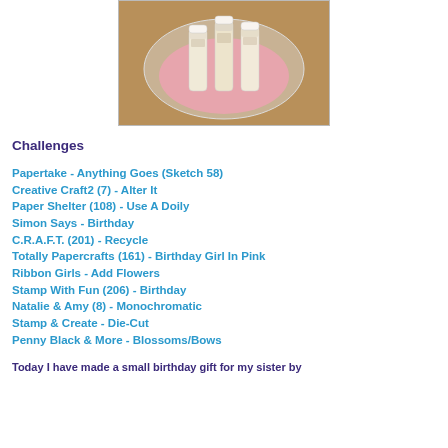[Figure (photo): Heart-shaped clear plastic tray containing three lotion/cream tubes placed upright, with pink fabric/tissue around them, sitting on a wooden surface.]
Challenges
Papertake - Anything Goes (Sketch 58)
Creative Craft2 (7) - Alter It
Paper Shelter (108) - Use A Doily
Simon Says - Birthday
C.R.A.F.T. (201) - Recycle
Totally Papercrafts (161) - Birthday Girl In Pink
Ribbon Girls - Add Flowers
Stamp With Fun (206) - Birthday
Natalie & Amy (8) - Monochromatic
Stamp & Create - Die-Cut
Penny Black & More - Blossoms/Bows
Today I have made a small birthday gift for my sister by